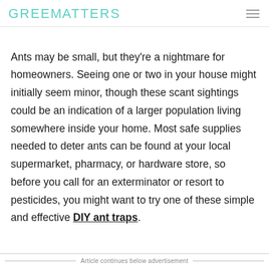GREENMATTERS
Ants may be small, but they're a nightmare for homeowners. Seeing one or two in your house might initially seem minor, though these scant sightings could be an indication of a larger population living somewhere inside your home. Most safe supplies needed to deter ants can be found at your local supermarket, pharmacy, or hardware store, so before you call for an exterminator or resort to pesticides, you might want to try one of these simple and effective DIY ant traps.
Article continues below advertisement